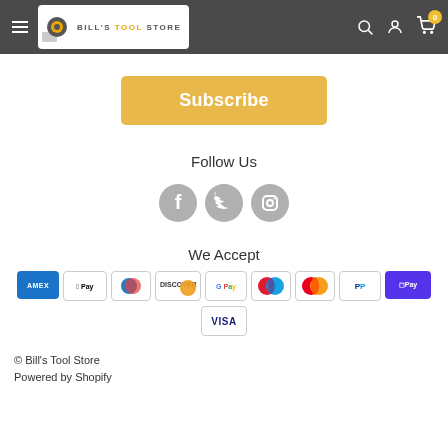Bill's Tool Store navigation header
Subscribe
Follow Us
[Figure (illustration): Three social media icons: Facebook, Twitter, Instagram in grey circles]
We Accept
[Figure (illustration): Payment method icons: Amex, Apple Pay, Diners Club, Discover, Google Pay, Maestro, Mastercard, PayPal, ShopPay, Visa]
© Bill's Tool Store
Powered by Shopify